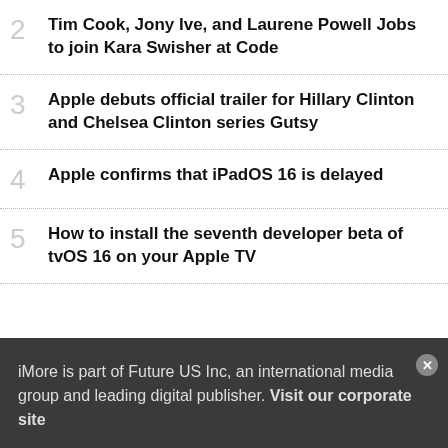2 Tim Cook, Jony Ive, and Laurene Powell Jobs to join Kara Swisher at Code
3 Apple debuts official trailer for Hillary Clinton and Chelsea Clinton series Gutsy
4 Apple confirms that iPadOS 16 is delayed
5 How to install the seventh developer beta of tvOS 16 on your Apple TV
iMore is part of Future US Inc, an international media group and leading digital publisher. Visit our corporate site